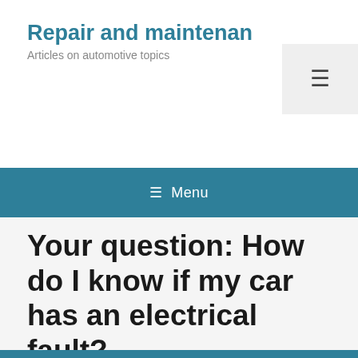Repair and maintenan
Articles on automotive topics
[Figure (other): Hamburger menu icon button in a light gray box in the top right corner]
≡ Menu
Your question: How do I know if my car has an electrical fault?